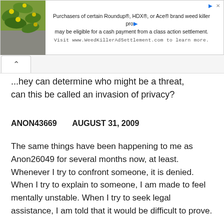[Figure (screenshot): Advertisement banner for WeedKillerAdSettlement.com class action settlement, with green plant image on left and ad text on right]
...hey can determine who might be a threat, can this be called an invasion of privacy?
ANON43669    AUGUST 31, 2009
The same things have been happening to me as Anon26049 for several months now, at least. Whenever I try to confront someone, it is denied. When I try to explain to someone, I am made to feel mentally unstable. When I try to seek legal assistance, I am told that it would be difficult to prove.